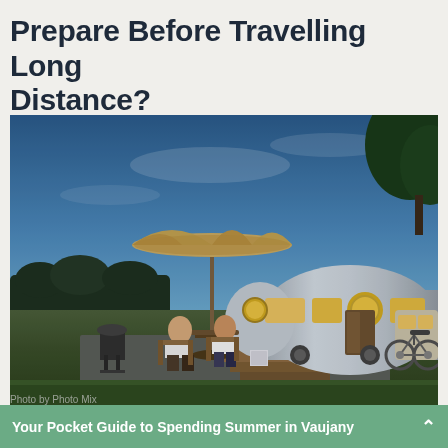Prepare Before Travelling Long Distance?
[Figure (photo): Two people sitting in chairs outside a silver Airstream-style trailer at dusk, with a large patio umbrella, wooden deck steps, bicycles parked nearby, and a field and trees in the background under a blue twilight sky.]
Photo by Photo Mix
Your Pocket Guide to Spending Summer in Vaujany